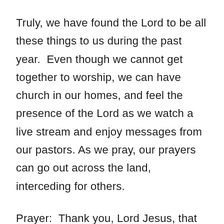Truly, we have found the Lord to be all these things to us during the past year.  Even though we cannot get together to worship, we can have church in our homes, and feel the presence of the Lord as we watch a live stream and enjoy messages from our pastors. As we pray, our prayers can go out across the land, interceding for others.
Prayer:  Thank you, Lord Jesus, that you have not changed, you are the same yesterday, today and forever.  You are still our rock, our fortress, and our shield. Help us to love you and praise you every day.